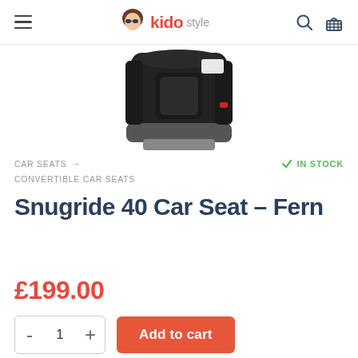kidostyle
[Figure (photo): Product image of a black car seat (Snugride 40) photographed from the back/side, showing dark plastic shell with a small red indicator, on white background.]
CAR SEATS → CONVERTIBLE CAR SEATS
IN STOCK
Snugride 40 Car Seat – Fern
£199.00
- 1 +  Add to cart